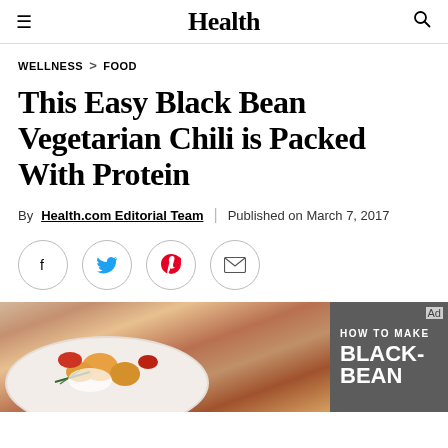Health
WELLNESS > FOOD
This Easy Black Bean Vegetarian Chili is Packed With Protein
By Health.com Editorial Team | Published on March 7, 2017
[Figure (other): Social sharing icons: Facebook, Twitter, Pinterest, Email]
[Figure (photo): Food photo showing chili in a white bowl with overlay panel reading HOW TO MAKE BLACK-BEAN]